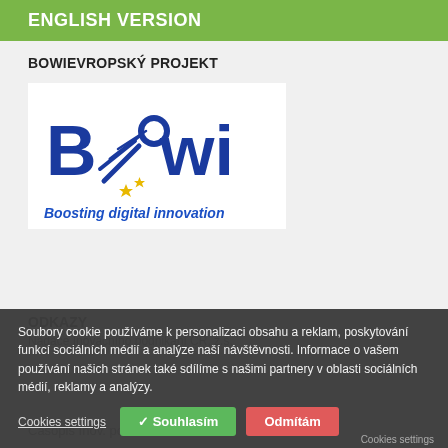ENGLISH VERSION
BOWIEVROPSKÝ PROJEKT
[Figure (logo): BWI (Boosting digital innovation) logo — blue rocket/comet styled letters B, W, I with yellow stars, and tagline 'Boosting digital innovation' in blue italic bold]
ODKAZY
Nadace Inovačního podnikání ČR, z.s.
Časopis Inov. podnikání a TT
Soubory cookie používáme k personalizaci obsahu a reklam, poskytování funkcí sociálních médií a analýze naší návštěvnosti. Informace o vašem používání našich stránek také sdílíme s našimi partnery v oblasti sociálních médií, reklamy a analýzy.
Cookies settings
✓ Souhlasím
Odmítám
Cookies settings